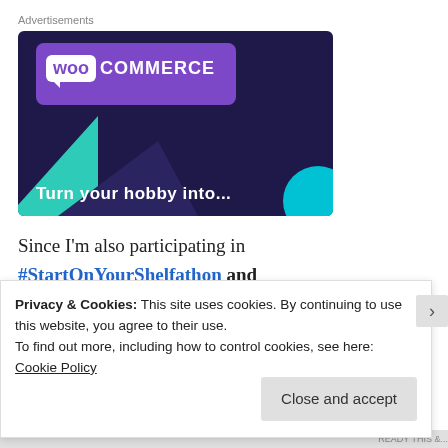Advertisements
[Figure (illustration): WooCommerce advertisement banner with purple background, WooCommerce logo, teal and cyan triangles, and text 'Turn your hobby into...']
Since I'm also participating in #StartOnYourShelfathon and Beat the Backlist 2020, and I've been wanting to try to focus
Privacy & Cookies: This site uses cookies. By continuing to use this website, you agree to their use.
To find out more, including how to control cookies, see here: Cookie Policy